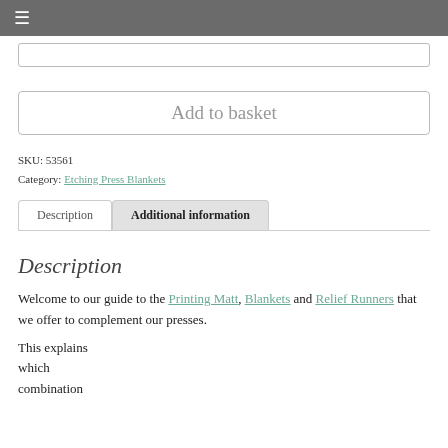≡
Add to basket
SKU: 53561
Category: Etching Press Blankets
Description | Additional information (tabs)
Description
Welcome to our guide to the Printing Matt, Blankets and Relief Runners that we offer to complement our presses.
This explains
which
combination